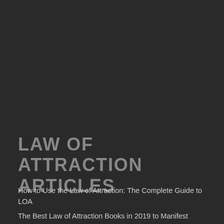LAW OF ATTRACTION ARTICLES
How to Use the Law of Attraction: The Complete Guide to LOA
The Best Law of Attraction Books in 2019 to Manifest Abundance